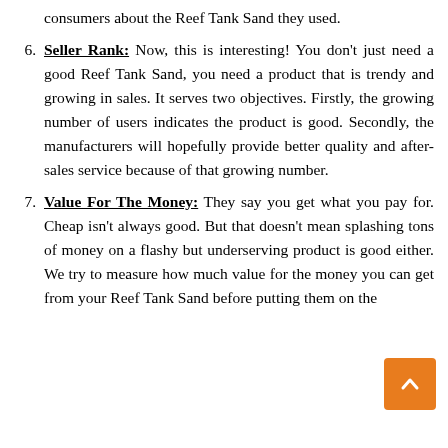consumers about the Reef Tank Sand they used.
Seller Rank: Now, this is interesting! You don't just need a good Reef Tank Sand, you need a product that is trendy and growing in sales. It serves two objectives. Firstly, the growing number of users indicates the product is good. Secondly, the manufacturers will hopefully provide better quality and after-sales service because of that growing number.
Value For The Money: They say you get what you pay for. Cheap isn't always good. But that doesn't mean splashing tons of money on a flashy but underserving product is good either. We try to measure how much value for the money you can get from your Reef Tank Sand before putting them on the